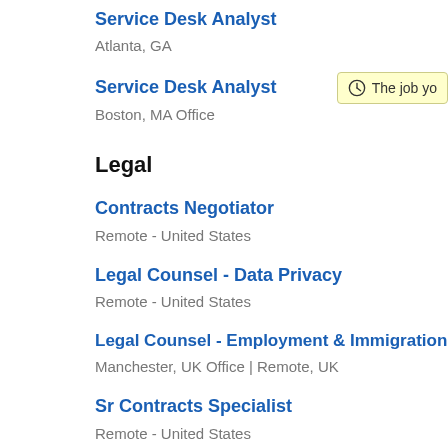Service Desk Analyst
Atlanta, GA
Service Desk Analyst
Boston, MA Office
Legal
Contracts Negotiator
Remote - United States
Legal Counsel - Data Privacy
Remote - United States
Legal Counsel - Employment & Immigration
Manchester, UK Office | Remote, UK
Sr Contracts Specialist
Remote - United States
Sales Operations
Deals Desk Analyst